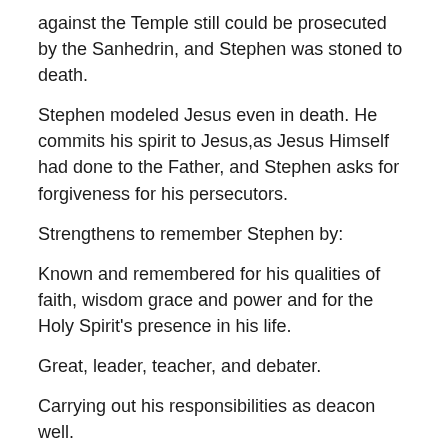against the Temple still could be prosecuted by the Sanhedrin, and Stephen was stoned to death.
Stephen modeled Jesus even in death. He commits his spirit to Jesus,as Jesus Himself had done to the Father, and Stephen asks for forgiveness for his persecutors.
Strengthens to remember Stephen by:
Known and remembered for his qualities of faith, wisdom grace and power and for the Holy Spirit's presence in his life.
Great, leader, teacher, and debater.
Carrying out his responsibilities as deacon well.
Lessons top be learnt from Stephen's Life: